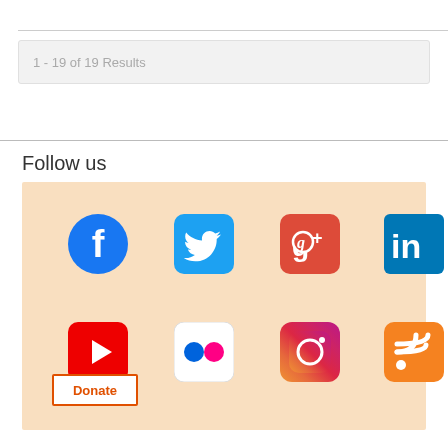1 - 19 of 19 Results
Follow us
[Figure (infographic): Social media icons panel with peach background: Facebook, Twitter, Google+, LinkedIn (top row); YouTube, Flickr, Instagram, RSS (bottom row); Donate button at bottom-left]
Donate